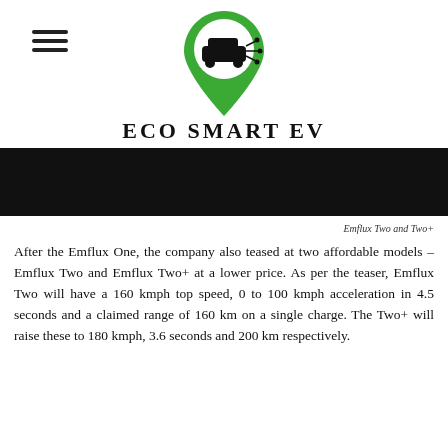[Figure (logo): Eco Smart EV logo: green map pin shape containing a car with circuit/network lines, centered at top of page]
ECO SMART EV
[Figure (photo): Dark/black banner image, appears to be a dark photograph of a vehicle or road scene]
Emflux Two and Two+
After the Emflux One, the company also teased at two affordable models – Emflux Two and Emflux Two+ at a lower price. As per the teaser, Emflux Two will have a 160 kmph top speed, 0 to 100 kmph acceleration in 4.5 seconds and a claimed range of 160 km on a single charge. The Two+ will raise these to 180 kmph, 3.6 seconds and 200 km respectively.